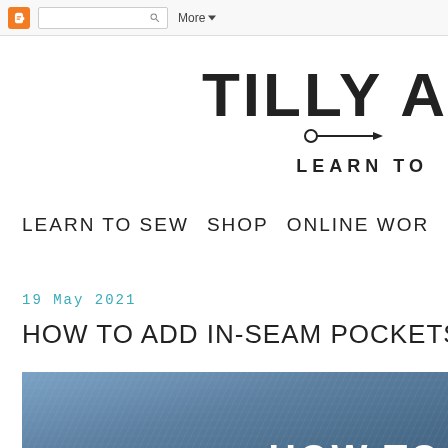Blogger navigation bar with search and More menu
[Figure (logo): Tilly and the Buttons blog logo, partially cropped on right side, showing 'TILLY A...' in large bold uppercase letters with needle graphic and 'LEARN TO' subtitle]
LEARN TO SEW   SHOP   ONLINE WOR...
19 May 2021
HOW TO ADD IN-SEAM POCKETS TO A GAR...
[Figure (photo): Blue denim fabric texture with white text overlay reading 'HOW TO' in the bottom right corner]